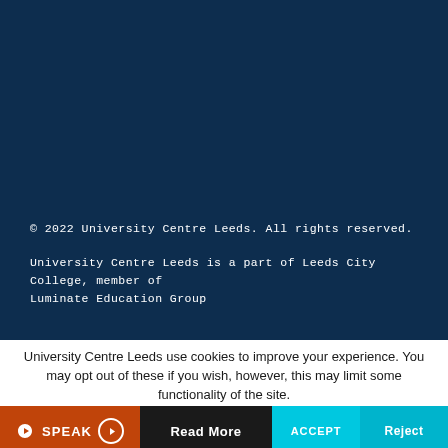© 2022 University Centre Leeds. All rights reserved.
University Centre Leeds is a part of Leeds City College, member of Luminate Education Group
University Centre Leeds use cookies to improve your experience. You may opt out of these if you wish, however, this may limit some functionality of the site.
SPEAK
Read More
ACCEPT
Reject